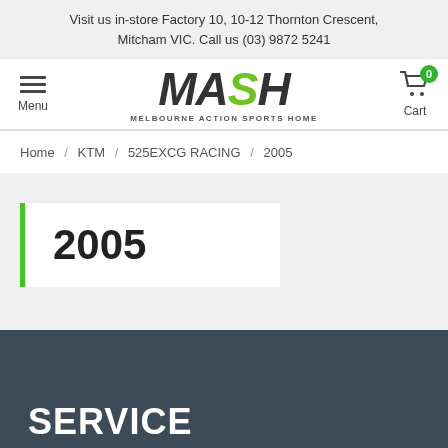Visit us in-store Factory 10, 10-12 Thornton Crescent, Mitcham VIC. Call us (03) 9872 5241
[Figure (logo): MASH Melbourne Action Sports Home logo with green S letter]
Menu
Cart
Home / KTM / 525EXCG RACING / 2005
2005
SERVICE